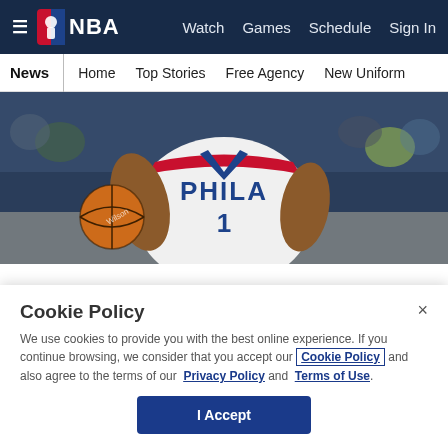NBA — Watch  Games  Schedule  Sign In
News | Home  Top Stories  Free Agency  New Uniform
[Figure (photo): Philadelphia 76ers player #1 dribbling a basketball, wearing white PHILA jersey, crowd in background]
Cookie Policy
We use cookies to provide you with the best online experience. If you continue browsing, we consider that you accept our Cookie Policy and also agree to the terms of our Privacy Policy and Terms of Use.
I Accept